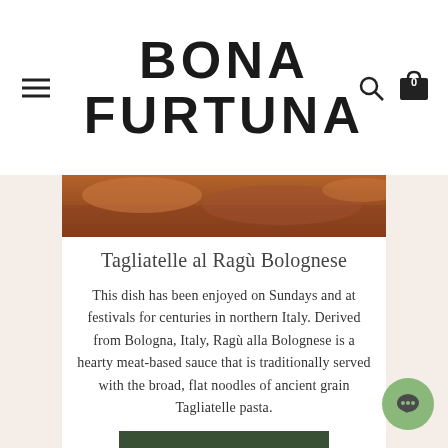BONA FURTUNA
[Figure (photo): Food photo strip showing baked pasta dish]
Tagliatelle al Ragù Bolognese
This dish has been enjoyed on Sundays and at festivals for centuries in northern Italy. Derived from Bologna, Italy, Ragù alla Bolognese is a hearty meat-based sauce that is traditionally served with the broad, flat noodles of ancient grain Tagliatelle pasta.
READ POST